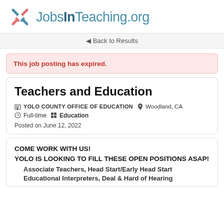JobsInTeaching.org
◄ Back to Results
This job posting has expired.
Teachers and Education
YOLO COUNTY OFFICE OF EDUCATION  Woodland, CA  Full-time  Education
Posted on June 12, 2022
COME WORK WITH US!
YOLO IS LOOKING TO FILL THESE OPEN POSITIONS ASAP!
Associate Teachers, Head Start/Early Head Start
Educational Interpreters, Deal & Hard of Hearing